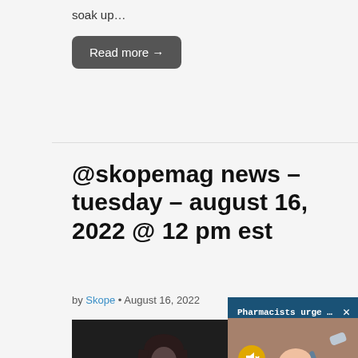soak up…
Read more →
@skopemag news – tuesday – august 16, 2022 @ 12 pm est
by Skope • August 16, 2022
[Figure (photo): Young woman with dark hair looking down, dark moody photo]
[Figure (photo): Ad banner overlay: Pharmacists urge against panic-bu... with close button X, and video of baby being examined by doctor]